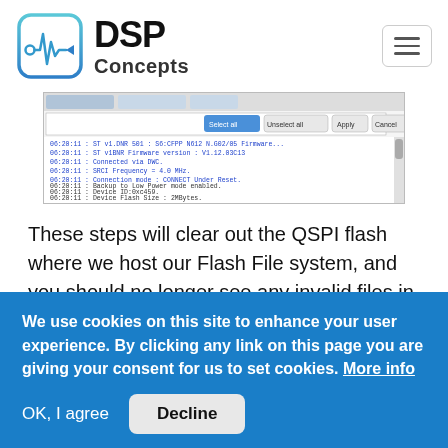[Figure (logo): DSP Concepts logo with waveform icon and text 'DSP Concepts']
[Figure (screenshot): Screenshot of a Windows application dialog showing a flash manager with log output lines including device info, connection status, flash size, and device ready messages. A toolbar with Select all, Unselect all, Apply, Cancel buttons is visible at the top.]
These steps will clear out the QSPI flash where we host our Flash File system, and you should no longer see any invalid files in the Flash Manager.
We use cookies on this site to enhance your user experience. By clicking any link on this page you are giving your consent for us to set cookies. More info
OK, I agree
Decline